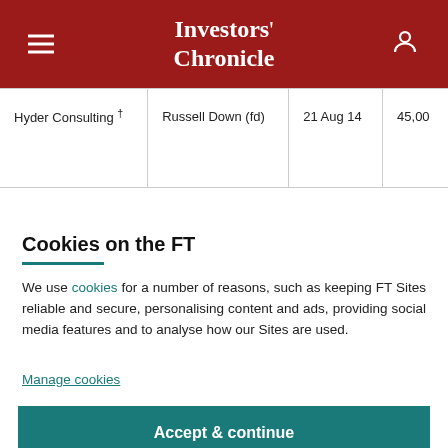Investors' Chronicle
| Hyder Consulting † | Russell Down (fd) | 21 Aug 14 | 45,00 |
Cookies on the FT
We use cookies for a number of reasons, such as keeping FT Sites reliable and secure, personalising content and ads, providing social media features and to analyse how our Sites are used.
Manage cookies
Accept & continue